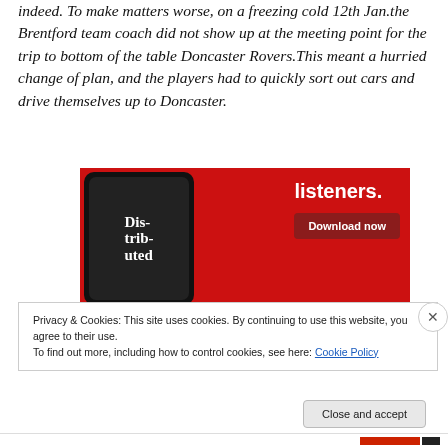indeed. To make matters worse, on a freezing cold 12th Jan.the Brentford team coach did not show up at the meeting point for the trip to bottom of the table Doncaster Rovers.This meant a hurried change of plan, and the players had to quickly sort out cars and drive themselves up to Doncaster.
[Figure (photo): Advertisement banner on red background showing a smartphone with 'Dis-trib-uted' text and a 'Download now' button, with text 'listeners.' in white]
Privacy & Cookies: This site uses cookies. By continuing to use this website, you agree to their use.
To find out more, including how to control cookies, see here: Cookie Policy
Close and accept